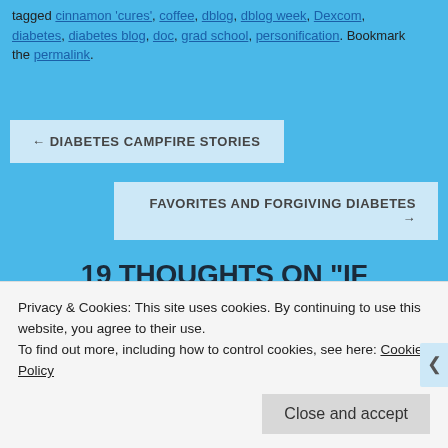tagged cinnamon 'cures', coffee, dblog, dblog week, Dexcom, diabetes, diabetes blog, doc, grad school, personification. Bookmark the permalink.
← DIABETES CAMPFIRE STORIES
FAVORITES AND FORGIVING DIABETES →
19 THOUGHTS ON "IF DIABETES WERE A CINNAMON CURE"
KATY SAYS: MAY 15, 2015 AT 11:36 AM
Privacy & Cookies: This site uses cookies. By continuing to use this website, you agree to their use.
To find out more, including how to control cookies, see here: Cookie Policy